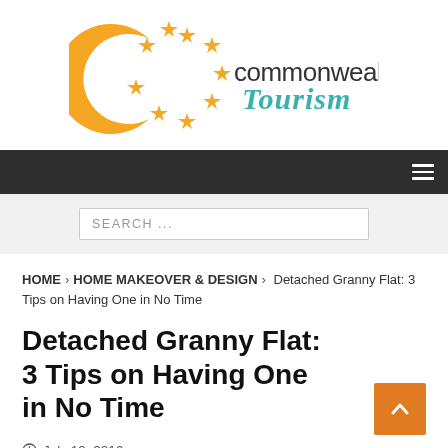[Figure (logo): Commonwealth Tourism logo: orange crescent C shape surrounded by orange stars, with 'commonwealth' in dark gray and 'Tourism' in teal handwritten style]
[Figure (screenshot): Dark navigation bar with hamburger menu icon on the right]
[Figure (screenshot): Search bar with placeholder text 'SEARCH ...']
HOME > HOME MAKEOVER & DESIGN > Detached Granny Flat: 3 Tips on Having One in No Time
Detached Granny Flat: 3 Tips on Having One in No Time
July 19, 2016